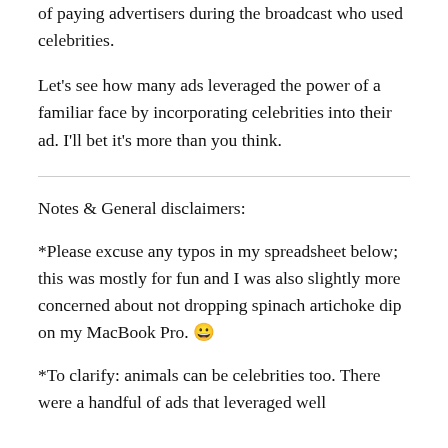of paying advertisers during the broadcast who used celebrities.
Let's see how many ads leveraged the power of a familiar face by incorporating celebrities into their ad. I'll bet it's more than you think.
Notes & General disclaimers:
*Please excuse any typos in my spreadsheet below; this was mostly for fun and I was also slightly more concerned about not dropping spinach artichoke dip on my MacBook Pro. 😀
*To clarify: animals can be celebrities too. There were a handful of ads that leveraged well